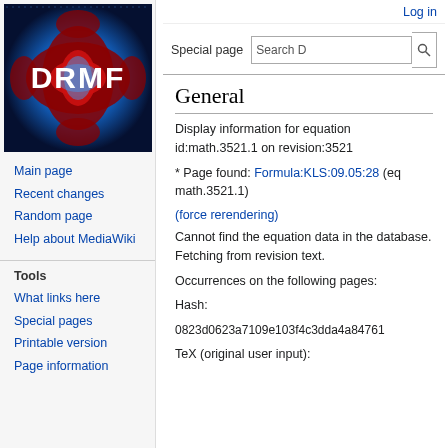[Figure (logo): DRMF logo — geometric optical illusion pattern with blue and red/dark ellipses on a grid, with white text 'DRMF' overlaid]
Main page
Recent changes
Random page
Help about MediaWiki
Tools
What links here
Special pages
Printable version
Page information
Log in
Special page
General
Display information for equation id:math.3521.1 on revision:3521
* Page found: Formula:KLS:09.05:28 (eq math.3521.1)
(force rerendering)
Cannot find the equation data in the database. Fetching from revision text.
Occurrences on the following pages:
Hash:
0823d0623a7109e103f4c3dda4a84761
TeX (original user input):